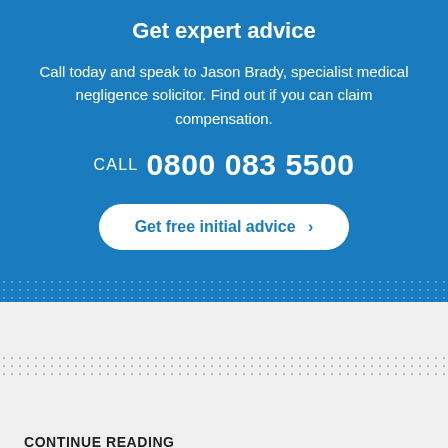Get expert advice
Call today and speak to Jason Brady, specialist medical negligence solicitor. Find out if you can claim compensation.
CALL  0800 083 5500
Get free initial advice >
CONTINUE READING
Previous NHS breach higher than average number of...